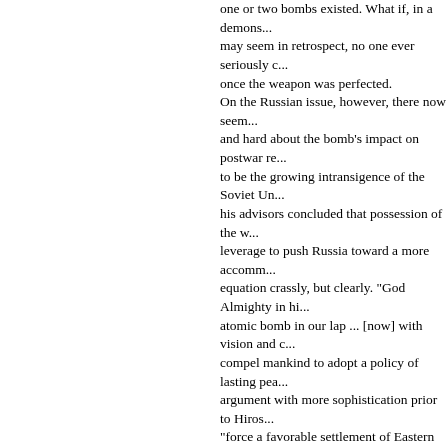one or two bombs existed. What if, in a demons... may seem in retrospect, no one ever seriously c... once the weapon was perfected. On the Russian issue, however, there now seem... and hard about the bomb's impact on postwar re... to be the growing intransigence of the Soviet Un... his advisors concluded that possession of the w... leverage to push Russia toward a more accomm... equation crassly, but clearly. "God Almighty in hi... atomic bomb in our lap ... [now] with vision and c... compel mankind to adopt a policy of lasting pea... argument with more sophistication prior to Hiros... "force a favorable settlement of Eastern Europe... weapon worked, he noted, "I'll certainly have a b... Use of the bomb as a diplomatic lever played a ... with Stalin at Potsdam. Not only would the confe... Europe, Germany, and Russia's involvement in ... It would also provide a crucial opportunity for An... beliefs about future relationships with Russia. S... off on any confrontation with Stalin until the bom... problems," Stimson noted, "the bomb's secret w... with such big stakes and diplomacy without hav... could not delay the meeting because of a prior c... aware of the bomb's significance. Already noted... suddenly took on new confidence in the midst o... bomb had successfully been tested. "He was a c... just where they got on and off and generally bos... changed. Russian involvement in the Japanese ... United States had as a bargaining chip the mos... Truman walked up to Stalin and casually told him... explosive, which we're going to use against the ... information about the bomb, or of future cooper...